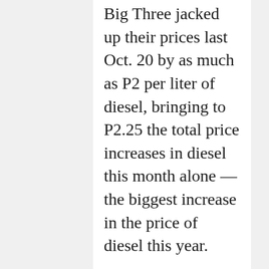Big Three jacked up their prices last Oct. 20 by as much as P2 per liter of diesel, bringing to P2.25 the total price increases in diesel this month alone — the biggest increase in the price of diesel this year.
The cartel also raised by P1.25 per liter the price of gasoline and by P1.50 per liter the price of kerosene.
“This is not only anti-poor and anti-small entrepreneurs,” Ranio said. “It also smacks of